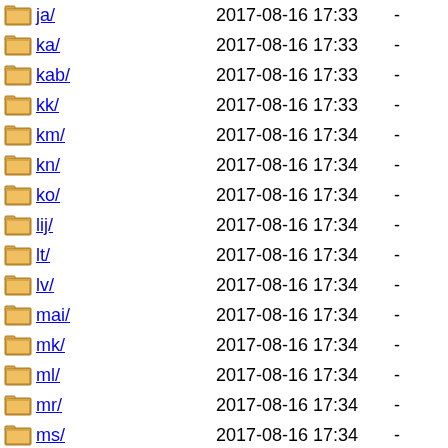ja/ 2017-08-16 17:33 -
ka/ 2017-08-16 17:33 -
kab/ 2017-08-16 17:33 -
kk/ 2017-08-16 17:33 -
km/ 2017-08-16 17:34 -
kn/ 2017-08-16 17:34 -
ko/ 2017-08-16 17:34 -
lij/ 2017-08-16 17:34 -
lt/ 2017-08-16 17:34 -
lv/ 2017-08-16 17:34 -
mai/ 2017-08-16 17:34 -
mk/ 2017-08-16 17:34 -
ml/ 2017-08-16 17:34 -
mr/ 2017-08-16 17:34 -
ms/ 2017-08-16 17:34 -
my/ 2017-08-16 17:34 -
nb-NO/ 2017-08-16 17:32 -